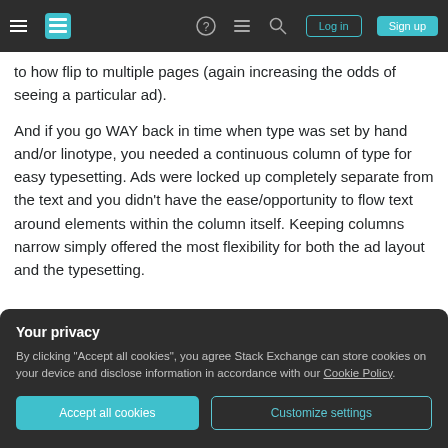Stack Exchange navigation bar with logo, icons, Log in and Sign up buttons
to how flip to multiple pages (again increasing the odds of seeing a particular ad).
And if you go WAY back in time when type was set by hand and/or linotype, you needed a continuous column of type for easy typesetting. Ads were locked up completely separate from the text and you didn't have the ease/opportunity to flow text around elements within the column itself. Keeping columns narrow simply offered the most flexibility for both the ad layout and the typesetting.
Your privacy
By clicking "Accept all cookies", you agree Stack Exchange can store cookies on your device and disclose information in accordance with our Cookie Policy.
Accept all cookies    Customize settings